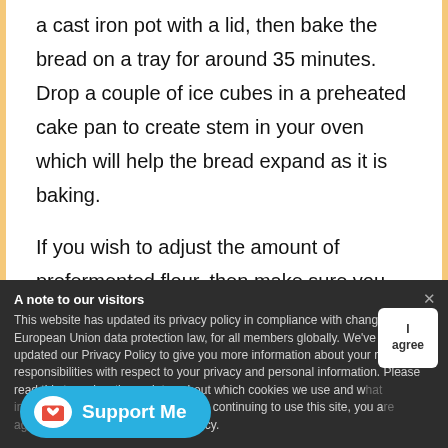15. Cool down and enjoy. If you do not have a cast iron pot with a lid, then bake the bread on a tray for around 35 minutes. Drop a couple of ice cubes in a preheated cake pan to create stem in your oven which will help the bread expand as it is baking.
If you wish to adjust the amount of prefermented flour, then make sure you adjust the remaining flour & water accordingly.
A note to our visitors
This website has updated its privacy policy in compliance with changes to European Union data protection law, for all members globally. We've also updated our Privacy Policy to give you more information about your rights and responsibilities with respect to your privacy and personal information. Please read this to review the updates about which cookies we use and what information we collect on our site. By continuing to use this site, you are agreeing to our updated privacy policy.